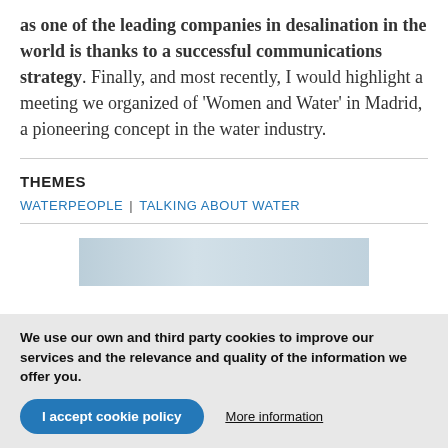as one of the leading companies in desalination in the world is thanks to a successful communications strategy. Finally, and most recently, I would highlight a meeting we organized of 'Women and Water' in Madrid, a pioneering concept in the water industry.
THEMES
WATERPEOPLE | TALKING ABOUT WATER
[Figure (photo): Partial image strip visible, light blue/grey tones, cropped]
We use our own and third party cookies to improve our services and the relevance and quality of the information we offer you.
I accept cookie policy   More information